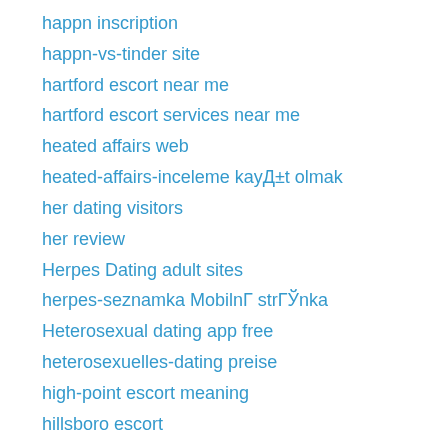happn inscription
happn-vs-tinder site
hartford escort near me
hartford escort services near me
heated affairs web
heated-affairs-inceleme kayД±t olmak
her dating visitors
her review
Herpes Dating adult sites
herpes-seznamka MobilnГ strГЎnka
Heterosexual dating app free
heterosexuelles-dating preise
high-point escort meaning
hillsboro escort
Hindu Dating apps for iphone